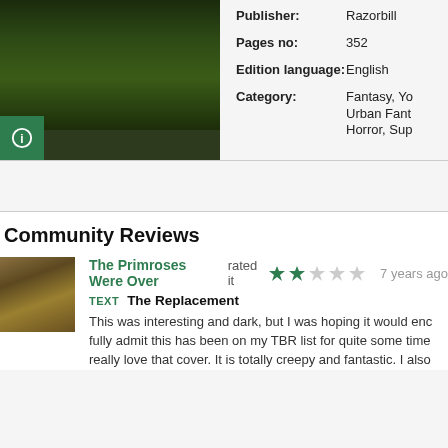[Figure (photo): Book cover image — dark forest/nature scene with green tones]
| Field | Value |
| --- | --- |
| Publisher: | Razorbill |
| Pages no: | 352 |
| Edition language: | English |
| Category: | Fantasy, Yo... Urban Fant... Horror, Sup... |
[Figure (infographic): Green info icon (i symbol) in a square green button]
Community Reviews
[Figure (photo): Reviewer avatar — landscape scene with tree]
The Primroses Were Over rated it  ★★☆☆☆  7 years ago
TEXT  The Replacement
This was interesting and dark, but I was hoping it would enc... fully admit this has been on my TBR list for quite some time... really love that cover. It is totally creepy and fantastic. I also...